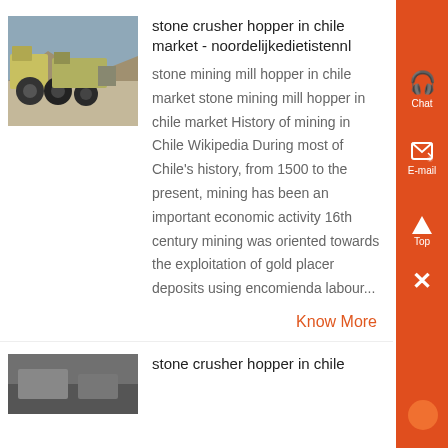[Figure (photo): Outdoor industrial scene with stone crusher machinery and large tires, arid landscape in background]
stone crusher hopper in chile market - noordelijkedietistennl
stone mining mill hopper in chile market stone mining mill hopper in chile market History of mining in Chile Wikipedia During most of Chile’s history, from 1500 to the present, mining has been an important economic activity 16th century mining was oriented towards the exploitation of gold placer deposits using encomienda labour...
Know More
[Figure (photo): Industrial machinery, partial image at bottom of page]
stone crusher hopper in chile